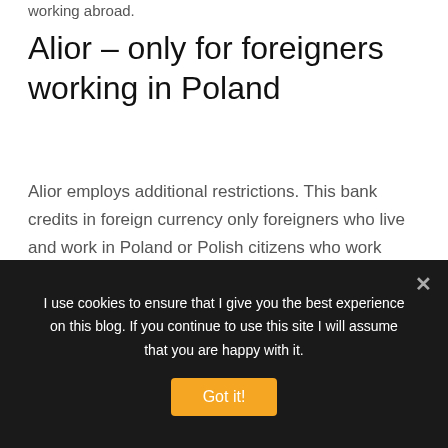working abroad.
Alior – only for foreigners working in Poland
Alior employs additional restrictions. This bank credits in foreign currency only foreigners who live and work in Poland or Polish citizens who work abroad. If a married couple applies for a loan, let's say a Polish woman and a French man both living and working in France, Alior will only take her income
I use cookies to ensure that I give you the best experience on this blog. If you continue to use this site I will assume that you are happy with it.